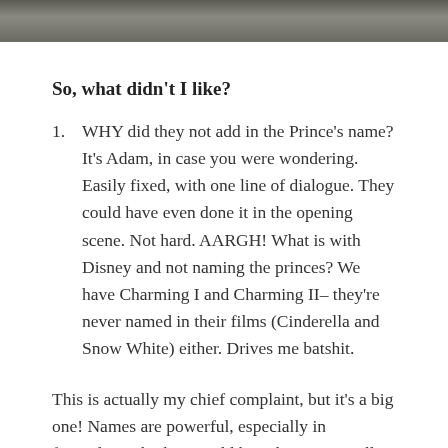[Figure (photo): Top strip of a black and white photograph, partially cropped, showing stone or rocky background with a figure.]
So, what didn't I like?
WHY did they not add in the Prince's name? It's Adam, in case you were wondering. Easily fixed, with one line of dialogue. They could have even done it in the opening scene. Not hard. AARGH! What is with Disney and not naming the princes? We have Charming I and Charming II– they're never named in their films (Cinderella and Snow White) either. Drives me batshit.
This is actually my chief complaint, but it's a big one! Names are powerful, especially in fairytales. I think it would have been especially powerful for Belle to be talking to him as